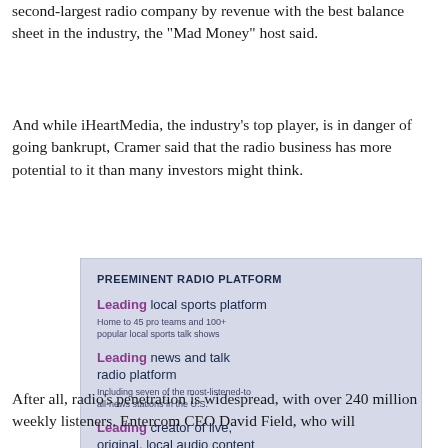second-largest radio company by revenue with the best balance sheet in the industry, the "Mad Money" host said.
And while iHeartMedia, the industry's top player, is in danger of going bankrupt, Cramer said that the radio business has more potential to it than many investors might think.
[Figure (infographic): Infographic titled 'PREEMINENT RADIO PLATFORM' with three bullet points: 'Leading local sports platform - Home to 45 pro teams and 100+ popular local sports talk shows', 'Leading news and talk radio platform - Including seven of the most-listened-to all-news stations in the U.S.', 'Leading creator of live, original, local audio content - Stellar lineup of iconic, local brands and popular personalities']
After all, radio's penetration is widespread, with over 240 million weekly listeners. Entercom CEO David Field, who will